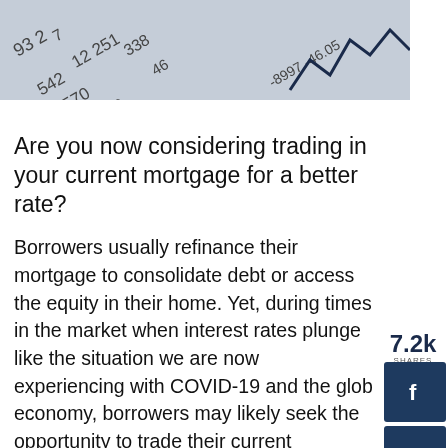[Figure (photo): Photo of financial documents with numbers and a stock chart line visible, in grayscale/blue tones]
Are you now considering trading in your current mortgage for a better rate?
Borrowers usually refinance their mortgage to consolidate debt or access the equity in their home. Yet, during times in the market when interest rates plunge like the situation we are now experiencing with COVID-19 and the global economy, borrowers may likely seek the opportunity to trade their current mortgage rate for a lower one to save money.
Depending on what the pre-payment penalty is and the difference between the current interest rate and new interest rate, it may be an excellent opportunity to trade mortgage rates